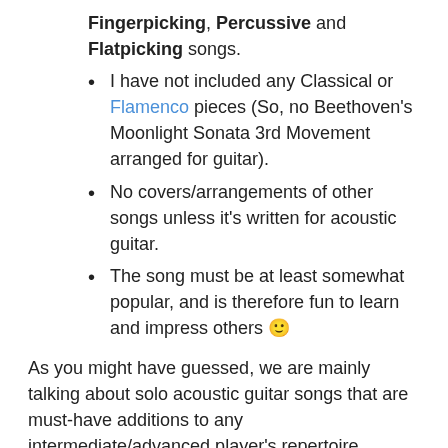Fingerpicking, Percussive and Flatpicking songs.
I have not included any Classical or Flamenco pieces (So, no Beethoven's Moonlight Sonata 3rd Movement arranged for guitar).
No covers/arrangements of other songs unless it's written for acoustic guitar.
The song must be at least somewhat popular, and is therefore fun to learn and impress others 🙂
As you might have guessed, we are mainly talking about solo acoustic guitar songs that are must-have additions to any intermediate/advanced player's repertoire.
The hardest part of curating such a list is to pick what NOT to include, which you will see why.